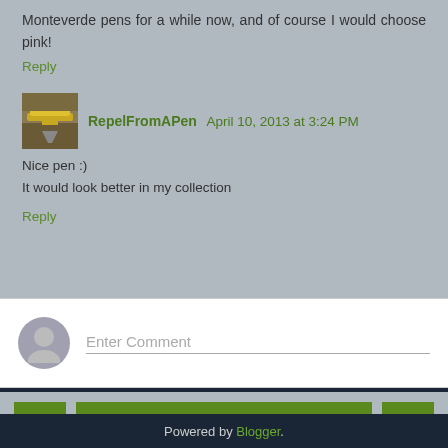Monteverde pens for a while now, and of course I would choose pink!
Reply
RepelFromAPen April 10, 2013 at 3:24 PM
Nice pen :)
It would look better in my collection
Reply
Enter Comment
Home
View web version
Powered by Blogger.